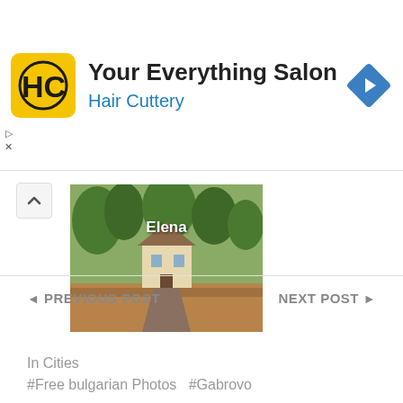[Figure (screenshot): Advertisement banner for Hair Cuttery - Your Everything Salon. Features the Hair Cuttery logo (HC in black on yellow background), the title 'Your Everything Salon', subtitle 'Hair Cuttery' in blue, and a blue navigation/directions diamond icon on the right.]
[Figure (photo): Outdoor photo of a building labeled 'Elena', surrounded by trees with autumn leaves on the ground. The scene appears to be a Bulgarian town or village setting.]
In Cities
#Free bulgarian Photos  #Gabrovo
◄ PREVIOUS POST
NEXT POST ►